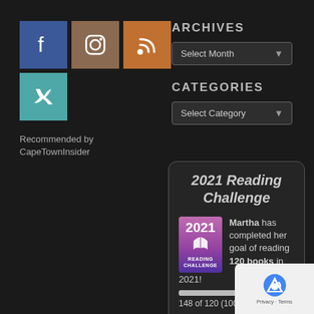[Figure (other): Social media icons: Facebook (blue), Instagram (brown), RSS (orange), Twitter (teal)]
Recommended by CapeTownInsider
ARCHIVES
[Figure (other): Dropdown selector showing 'Select Month' with down arrow]
CATEGORIES
[Figure (other): Dropdown selector showing 'Select Category' with down arrow]
[Figure (other): 2021 Reading Challenge widget showing Martha has completed her goal of reading 120 books in 2021! Progress bar showing 148 of 120 (100%)]
Martha has completed her goal of reading 120 books in 2021!
148 of 120 (100%)
view b...